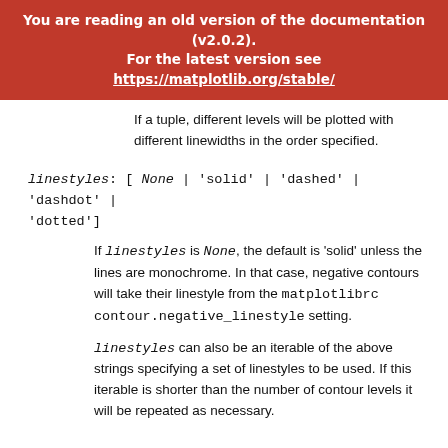You are reading an old version of the documentation (v2.0.2). For the latest version see https://matplotlib.org/stable/
If a tuple, different levels will be plotted with different linewidths in the order specified.
linestyles: [None | 'solid' | 'dashed' | 'dashdot' | 'dotted']
If linestyles is None, the default is 'solid' unless the lines are monochrome. In that case, negative contours will take their linestyle from the matplotlibrc contour.negative_linestyle setting.
linestyles can also be an iterable of the above strings specifying a set of linestyles to be used. If this iterable is shorter than the number of contour levels it will be repeated as necessary.